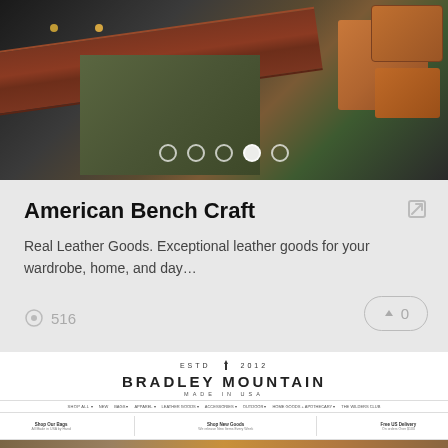[Figure (photo): Leather goods flat lay: braided brown leather belt strap diagonally across dark background, olive green textile item, tan leather wallet/case items with brass rivets]
American Bench Craft
Real Leather Goods. Exceptional leather goods for your wardrobe, home, and day…
516
↑ 0
[Figure (screenshot): Bradley Mountain website screenshot showing logo with ESTD 2012, navigation bar with SHOP ALL, NEW, BAGS, APPAREL, LEATHER GOODS, ACCESSORIES, OUTDOOR, HOME GOODS + APOTHECARY, THE WILDERS CLUB, and sub-navigation with Shop Our Bags, Shop New Goods, Free US Delivery]
[Figure (photo): Bottom portion showing leather goods photography, brown and tan leather items]